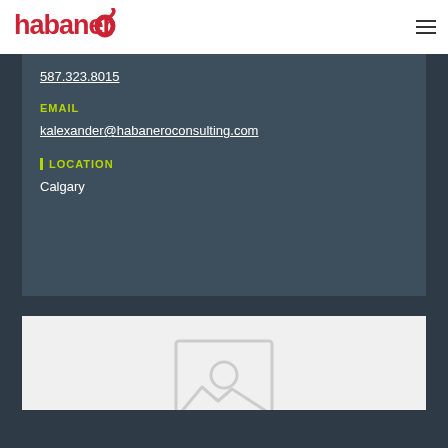[Figure (logo): Habanero logo in red with stylized 'o' with a leaf/pepper curl]
[Figure (other): Hamburger menu icon (three horizontal lines) in top right corner]
587.323.8015
EMAIL
kalexander@habaneroconsulting.com
LOCATION
Calgary
[Figure (other): Image placeholder icon (rectangle with mountain/photo symbol) on light gray background]